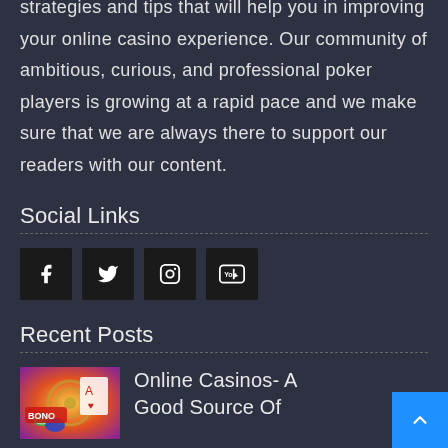strategies and tips that will help you in improving your online casino experience. Our community of ambitious, curious, and professional poker players is growing at a rapid pace and we make sure that we are always there to support our readers with our content.
Social Links
[Figure (infographic): Four social media icon buttons: Facebook, Twitter, Instagram, YouTube]
Recent Posts
[Figure (photo): Thumbnail image of casino chips, cards, and roulette wheel]
Online Casinos- A Good Source Of